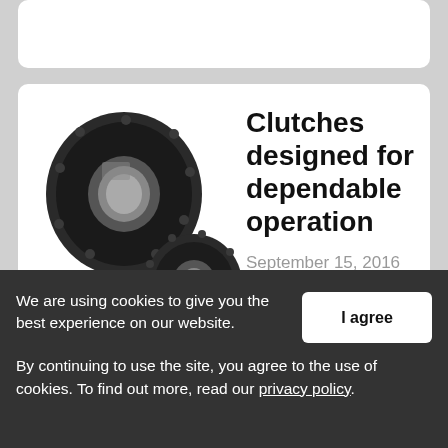[Figure (photo): Three industrial clutches of different sizes arranged together, black cylindrical mechanical components with bolt flanges and central bores.]
Clutches designed for dependable operation
September 15, 2016 by Tsubaki Of Canada Ltd.
Tsubaki carries a wide selection of drive, conveyor
We are using cookies to give you the best experience on our website.
By continuing to use the site, you agree to the use of cookies. To find out more, read our privacy policy.